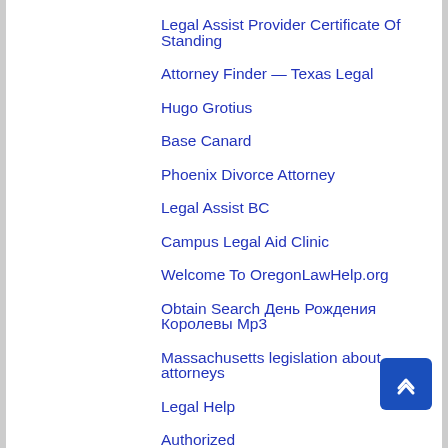Legal Assist Provider Certificate Of Standing
Attorney Finder — Texas Legal
Hugo Grotius
Base Canard
Phoenix Divorce Attorney
Legal Assist BC
Campus Legal Aid Clinic
Welcome To OregonLawHelp.org
Obtain Search День Рождения Королевы Mp3
Massachusetts legislation about attorneys
Legal Help
Authorized
Illinois Attorney General